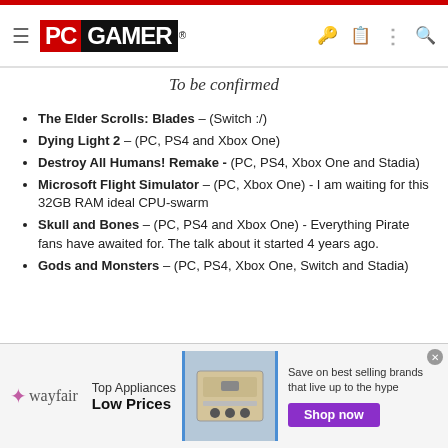PC GAMER
To be confirmed
The Elder Scrolls: Blades – (Switch :/)
Dying Light 2 – (PC, PS4 and Xbox One)
Destroy All Humans! Remake - (PC, PS4, Xbox One and Stadia)
Microsoft Flight Simulator – (PC, Xbox One) - I am waiting for this 32GB RAM ideal CPU-swarm
Skull and Bones – (PC, PS4 and Xbox One) - Everything Pirate fans have awaited for. The talk about it started 4 years ago.
Gods and Monsters – (PC, PS4, Xbox One, Switch and Stadia)
[Figure (other): Wayfair advertisement banner: Top Appliances Low Prices, Save on best selling brands that live up to the hype, Shop now button]